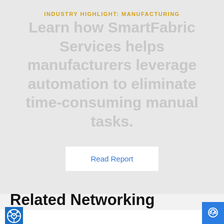INDUSTRY HIGHLIGHT: MANUFACTURING
Learn how SmartFabric Services helps manufacturers leverage automation to eliminate time-consuming manual tasks.
Read Report
Related Networking Offerings
[Figure (logo): Blue square icon with a cat/network logo]